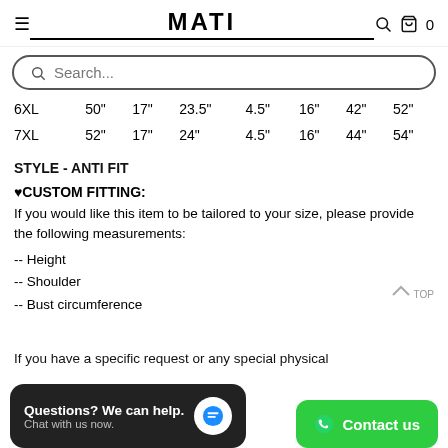MATI
| 6XL | 50" | 17" | 23.5" | 4.5" | 16" | 42" | 52" |
| 7XL | 52" | 17" | 24" | 4.5" | 16" | 44" | 54" |
STYLE - ANTI FIT
♥CUSTOM FITTING:
If you would like this item to be tailored to your size, please provide the following measurements:
-- Height
-- Shoulder
-- Bust circumference
If you have a specific request or any special physical